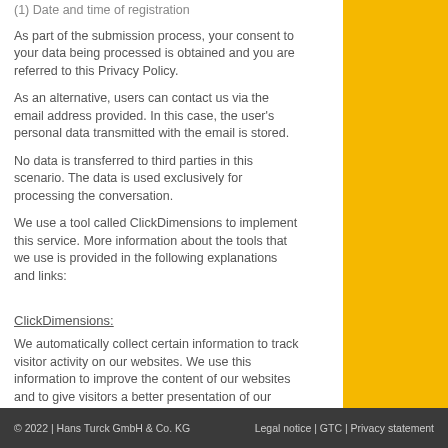(1) Date and time of registration
As part of the submission process, your consent to your data being processed is obtained and you are referred to this Privacy Policy.
As an alternative, users can contact us via the email address provided. In this case, the user's personal data transmitted with the email is stored.
No data is transferred to third parties in this scenario. The data is used exclusively for processing the conversation.
We use a tool called ClickDimensions to implement this service. More information about the tools that we use is provided in the following explanations and links:
ClickDimensions:
We automatically collect certain information to track visitor activity on our websites. We use this information to improve the content of our websites and to give visitors a better presentation of our organization and our
© 2022 | Hans Turck GmbH & Co. KG    Legal notice | GTC | Privacy statement